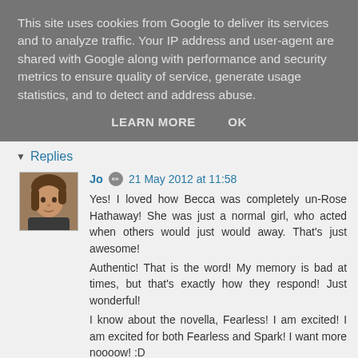This site uses cookies from Google to deliver its services and to analyze traffic. Your IP address and user-agent are shared with Google along with performance and security metrics to ensure quality of service, generate usage statistics, and to detect and address abuse.
LEARN MORE   OK
Replies
Jo  21 May 2012 at 11:58
Yes! I loved how Becca was completely un-Rose Hathaway! She was just a normal girl, who acted when others would just would away. That's just awesome!
Authentic! That is the word! My memory is bad at times, but that's exactly how they respond! Just wonderful!
I know about the novella, Fearless! I am excited! I am excited for both Fearless and Spark! I want more noooow! :D